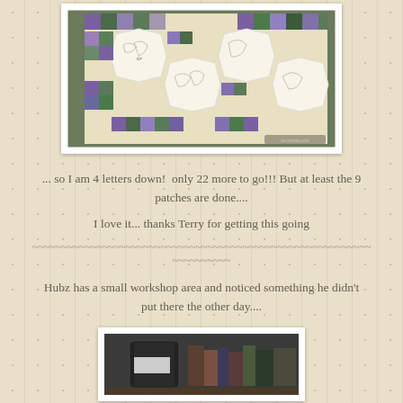[Figure (photo): Photo of a quilt with embroidered letter blocks on white octagon patches, surrounded by purple, green, and blue patchwork squares. Four embroidered blocks visible with hand-stitched animal/character designs.]
... so I am 4 letters down!  only 22 more to go!!! But at least the 9 patches are done....
I love it... thanks Terry for getting this going
~~~~~~~~~~~~~~~~~~~~~~~~~~~~~~~~~~~~~~~~~~~~~~~~~~~~~~~~~~
~~~~~~~~~~
Hubz has a small workshop area and noticed something he didn't put there the other day....
[Figure (photo): Photo of a dark cylindrical object (possibly a spray can or tool) in a workshop area with books or items in the background.]